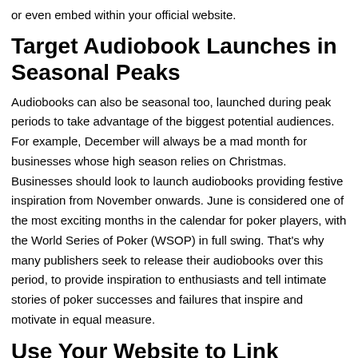or even embed within your official website.
Target Audiobook Launches in Seasonal Peaks
Audiobooks can also be seasonal too, launched during peak periods to take advantage of the biggest potential audiences. For example, December will always be a mad month for businesses whose high season relies on Christmas. Businesses should look to launch audiobooks providing festive inspiration from November onwards. June is considered one of the most exciting months in the calendar for poker players, with the World Series of Poker (WSOP) in full swing. That's why many publishers seek to release their audiobooks over this period, to provide inspiration to enthusiasts and tell intimate stories of poker successes and failures that inspire and motivate in equal measure.
Use Your Website to Link Directly to